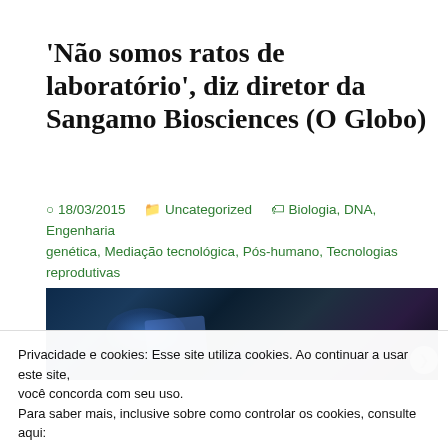'Não somos ratos de laboratório', diz diretor da Sangamo Biosciences (O Globo)
18/03/2015   Uncategorized   Biologia, DNA, Engenharia genética, Mediação tecnológica, Pós-humano, Tecnologias reprodutivas
[Figure (photo): Dark blue-toned photograph of a laboratory or science setting with blue glowing light and equipment visible]
Privacidade e cookies: Esse site utiliza cookies. Ao continuar a usar este site, você concorda com seu uso.
Para saber mais, inclusive sobre como controlar os cookies, consulte aqui:
Política de cookies